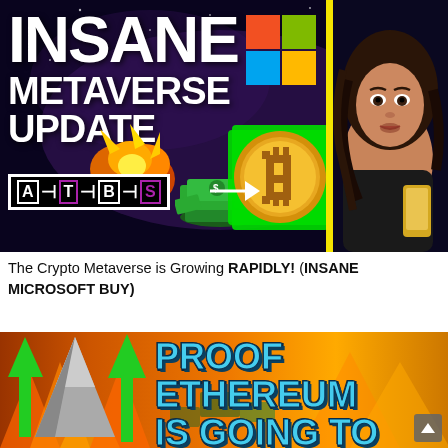[Figure (screenshot): YouTube video thumbnail showing 'INSANE METAVERSE UPDATE' text in white bold on dark space background with Microsoft logo, pixel-art Bitcoin coin with green outline, explosion graphic, money pile, ATBS logo box, right-pointing arrow, and a young woman with curly brown hair holding a gold phone on the right side with yellow outline separator]
The Crypto Metaverse is Growing RAPIDLY! (INSANE MICROSOFT BUY)
[Figure (screenshot): YouTube video thumbnail showing 'PROOF ETHEREUM IS GOING TO' text in blue with white outline on orange fiery background, with green upward arrows and gray pyramid shape on the left, partially cut off]